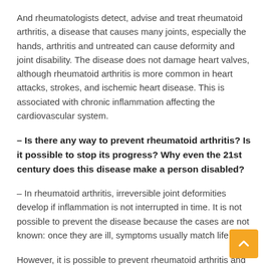And rheumatologists detect, advise and treat rheumatoid arthritis, a disease that causes many joints, especially the hands, arthritis and untreated can cause deformity and joint disability. The disease does not damage heart valves, although rheumatoid arthritis is more common in heart attacks, strokes, and ischemic heart disease. This is associated with chronic inflammation affecting the cardiovascular system.
– Is there any way to prevent rheumatoid arthritis? Is it possible to stop its progress? Why even the 21st century does this disease make a person disabled?
– In rheumatoid arthritis, irreversible joint deformities develop if inflammation is not interrupted in time. It is not possible to prevent the disease because the cases are not known: once they are ill, symptoms usually match life.
However, it is possible to prevent rheumatoid arthritis and management symptoms. The patient should be treated not only with symptomatic treatment but also with treatment that relieves diseases, preferably within four to eight weeks of the onset of symptoms. For